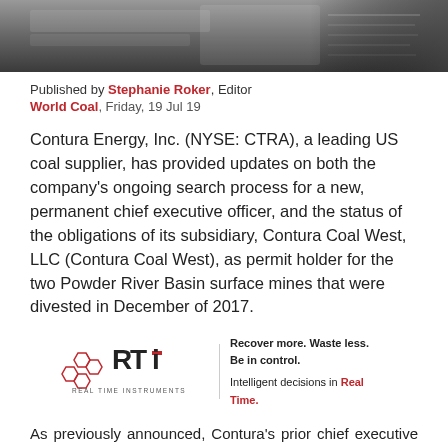[Figure (photo): Dark grayscale photo strip showing what appears to be documents or machinery, used as a decorative header image.]
Published by Stephanie Roker, Editor
World Coal, Friday, 19 Jul 19
Contura Energy, Inc. (NYSE: CTRA), a leading US coal supplier, has provided updates on both the company's ongoing search process for a new, permanent chief executive officer, and the status of the obligations of its subsidiary, Contura Coal West, LLC (Contura Coal West), as permit holder for the two Powder River Basin surface mines that were divested in December of 2017.
[Figure (logo): RTI Real Time Instruments logo with tagline: Recover more. Waste less. Be in control. Intelligent decisions in Real Time.]
As previously announced, Contura's prior chief executive officer departed the company in early May to pursue an opportunity outside of the coal industry. Subsequently, the company's board of directors appointed Andy Eidson, Contura's Executive Vice President and Chief Financial Officer, and Mark Manno, Contura's Executive Vice President, Chief Administrative and Legal Off...